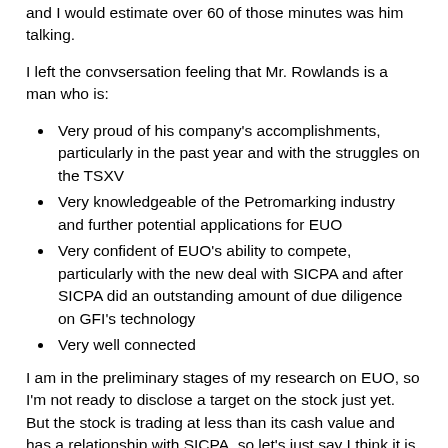and I would estimate over 60 of those minutes was him talking.
I left the convsersation feeling that Mr. Rowlands is a man who is:
Very proud of his company's accomplishments, particularly in the past year and with the struggles on the TSXV
Very knowledgeable of the Petromarking industry and further potential applications for EUO
Very confident of EUO's ability to compete, particularly with the new deal with SICPA and after SICPA did an outstanding amount of due diligence on GFI's technology
Very well connected
I am in the preliminary stages of my research on EUO, so I'm not ready to disclose a target on the stock just yet. But the stock is trading at less than its cash value and has a relationship with SICPA, so let's just say I think it is a buy.